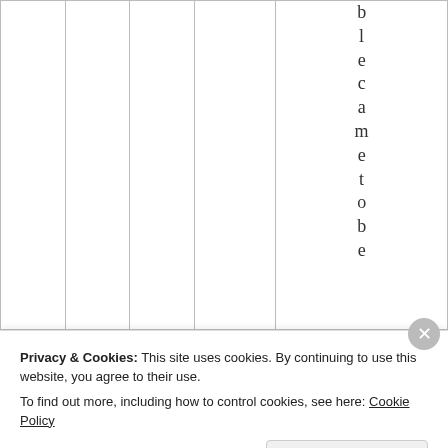|  |  |  |  | b
l
e
c
a
m
e
t
o
b
e |
Privacy & Cookies: This site uses cookies. By continuing to use this website, you agree to their use.
To find out more, including how to control cookies, see here: Cookie Policy
Close and accept